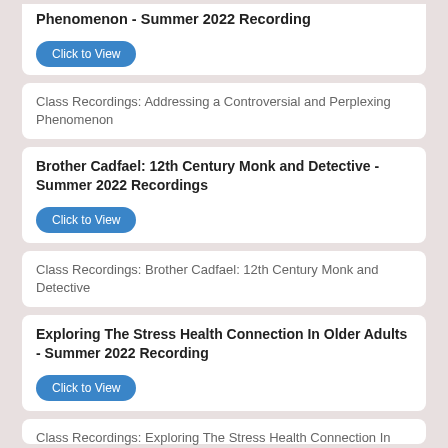Phenomenon - Summer 2022 Recording
Click to View
Class Recordings: Addressing a Controversial and Perplexing Phenomenon
Brother Cadfael: 12th Century Monk and Detective - Summer 2022 Recordings
Click to View
Class Recordings: Brother Cadfael: 12th Century Monk and Detective
Exploring The Stress Health Connection In Older Adults - Summer 2022 Recording
Click to View
Class Recordings: Exploring The Stress Health Connection In Older Adults